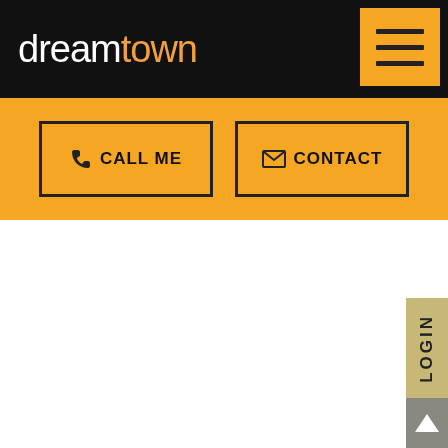dreamtown
[Figure (screenshot): Hamburger menu button - three horizontal lines on orange background]
[Figure (screenshot): Orange action bar with CALL ME and CONTACT buttons]
[Figure (screenshot): LOGIN vertical side tab in gold/tan color]
[Figure (screenshot): Scroll to top button with upward arrow on gray background]